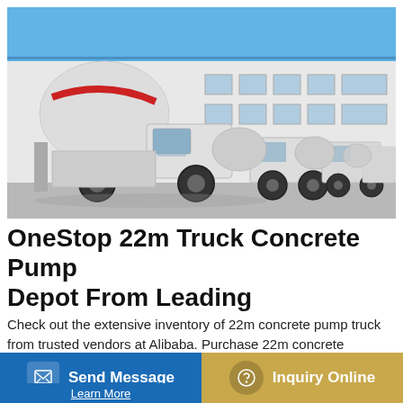[Figure (photo): Row of white concrete mixer/pump trucks parked in front of a large industrial warehouse building with blue trim, under a clear blue sky.]
OneStop 22m Truck Concrete Pump Depot From Leading
Check out the extensive inventory of 22m concrete pump truck from trusted vendors at Alibaba. Purchase 22m concrete [pump truck at cool pri…]
Send Message
Inquiry Online
Learn More